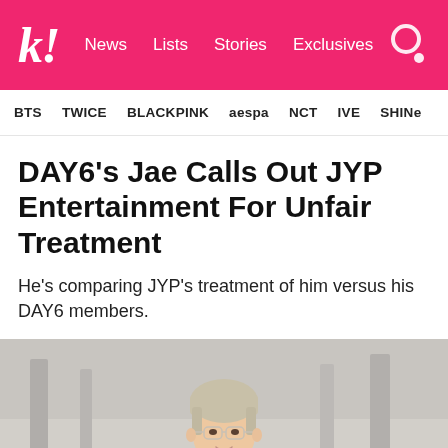k! News  Lists  Stories  Exclusives
BTS  TWICE  BLACKPINK  aespa  NCT  IVE  SHINe
DAY6's Jae Calls Out JYP Entertainment For Unfair Treatment
He's comparing JYP's treatment of him versus his DAY6 members.
[Figure (photo): Young man with blonde/light hair and glasses, wearing white, photographed at what appears to be an airport or public space with blurred background]